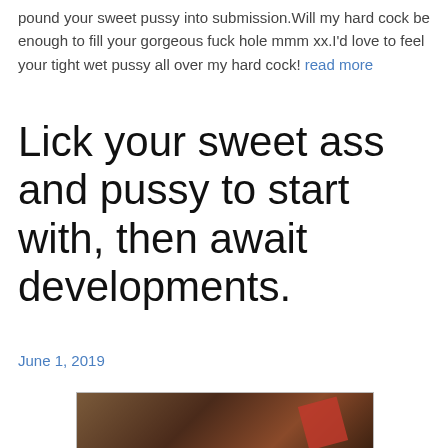pound your sweet pussy into submission.Will my hard cock be enough to fill your gorgeous fuck hole mmm xx.I'd love to feel your tight wet pussy all over my hard cock! read more
Lick your sweet ass and pussy to start with, then await developments.
June 1, 2019
[Figure (photo): A close-up photo with warm dark tones, partially showing a person with a red object/fabric.]